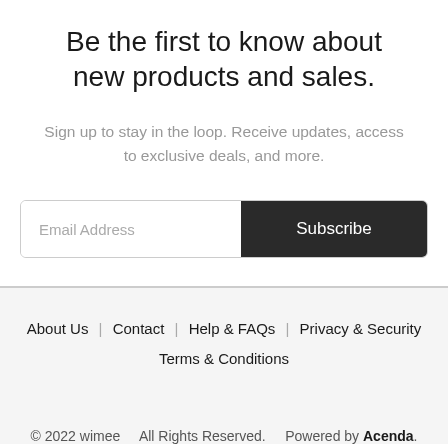Be the first to know about new products and sales.
Sign up to stay in the loop. Receive updates, access to exclusive deals, and more.
Email Address  Subscribe
About Us   Contact   Help & FAQs   Privacy & Security   Terms & Conditions
© 2022 wimee   All Rights Reserved.   Powered by Acenda.